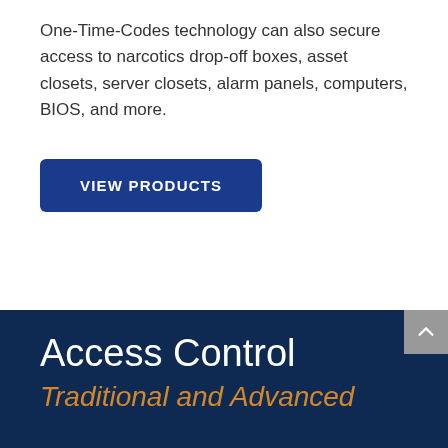One-Time-Codes technology can also secure access to narcotics drop-off boxes, asset closets, server closets, alarm panels, computers, BIOS, and more.
VIEW PRODUCTS
Access Control
Traditional and Advanced